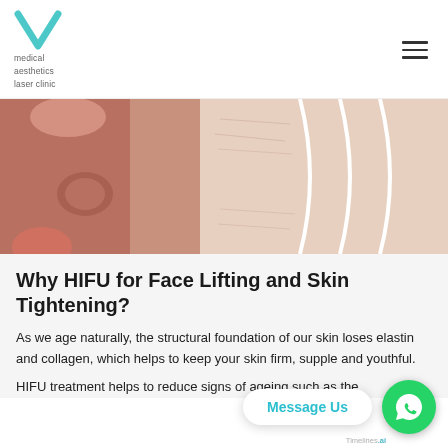V Medical Aesthetics Laser Clinic
[Figure (photo): Close-up photo of skin being lifted or pinched, showing skin texture with white curved lines overlay, on a light background]
Why HIFU for Face Lifting and Skin Tightening?
As we age naturally, the structural foundation of our skin loses elastin and collagen, which helps to keep your skin firm, supple and youthful.
HIFU treatment helps to reduce signs of ageing such as the